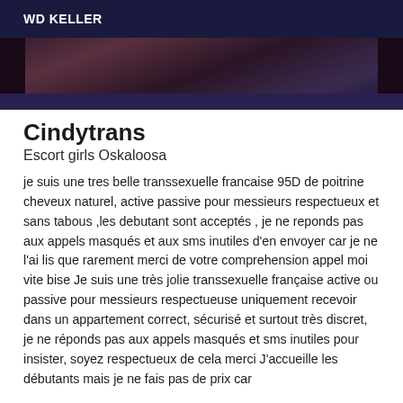WD KELLER
[Figure (photo): Dark blurred photo strip showing a dimly lit scene with purple and dark tones]
Cindytrans
Escort girls Oskaloosa
je suis une tres belle transsexuelle francaise 95D de poitrine cheveux naturel, active passive pour messieurs respectueux et sans tabous ,les debutant sont acceptés , je ne reponds pas aux appels masqués et aux sms inutiles d'en envoyer car je ne l'ai lis que rarement merci de votre comprehension appel moi vite bise Je suis une très jolie transsexuelle française active ou passive pour messieurs respectueuse uniquement recevoir dans un appartement correct, sécurisé et surtout très discret, je ne réponds pas aux appels masqués et sms inutiles pour insister, soyez respectueux de cela merci J'accueille les débutants mais je ne fais pas de prix car